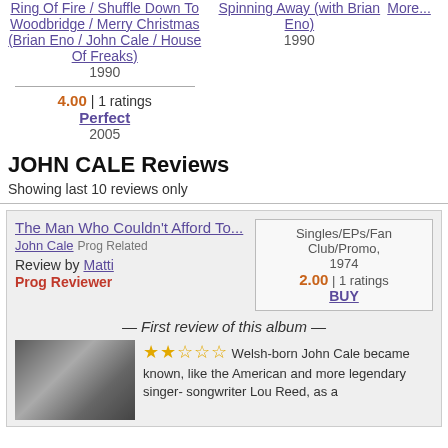Ring Of Fire / Shuffle Down To Woodbridge / Merry Christmas (Brian Eno / John Cale / House Of Freaks) 1990
Spinning Away (with Brian Eno) 1990
More...
4.00 | 1 ratings
Perfect
2005
JOHN CALE Reviews
Showing last 10 reviews only
The Man Who Couldn't Afford To...
John Cale Prog Related
Review by Matti
Prog Reviewer
Singles/EPs/Fan Club/Promo, 1974
2.00 | 1 ratings
BUY
— First review of this album —
Welsh-born John Cale became known, like the American and more legendary singer- songwriter Lou Reed, as a